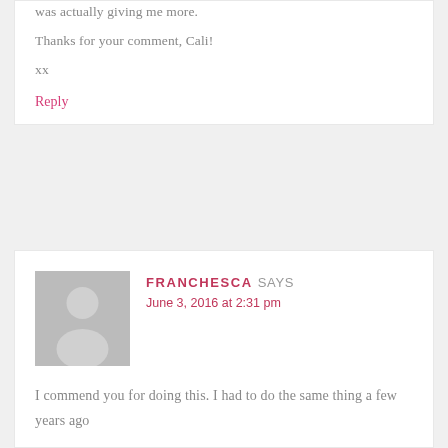was actually giving me more.
Thanks for your comment, Cali!
xx
Reply
[Figure (illustration): Grey avatar placeholder image of a generic person silhouette]
FRANCHESCA SAYS
June 3, 2016 at 2:31 pm
I commend you for doing this. I had to do the same thing a few years ago